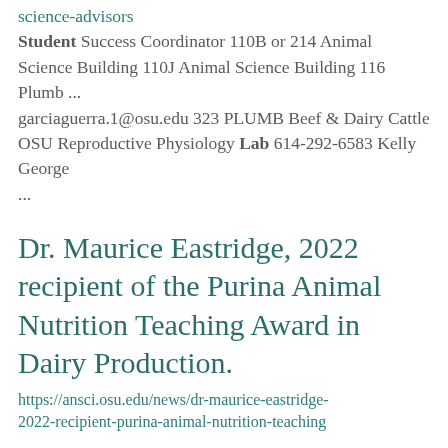science-advisors
Student Success Coordinator 110B or 214 Animal Science Building 110J Animal Science Building 116 Plumb ... garciaguerra.1@osu.edu 323 PLUMB Beef & Dairy Cattle OSU Reproductive Physiology Lab 614-292-6583 Kelly George ...
Dr. Maurice Eastridge, 2022 recipient of the Purina Animal Nutrition Teaching Award in Dairy Production.
https://ansci.osu.edu/news/dr-maurice-eastridge-2022-recipient-purina-animal-nutrition-teaching